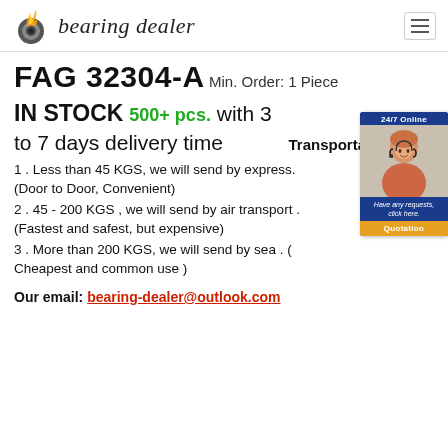bearing dealer
FAG 32304-A
Min. Order: 1 Piece
IN STOCK 500+ pcs. with 3 to 7 days delivery time
Transportation :
1 . Less than 45 KGS, we will send by express. (Door to Door, Convenient)
2 . 45 - 200 KGS , we will send by air transport . (Fastest and safest, but expensive)
3 . More than 200 KGS, we will send by sea . ( Cheapest and common use )
Our email: bearing-dealer@outlook.com
[Figure (photo): Customer service representative with headset, 24/7 Online chat widget with Quotation button]